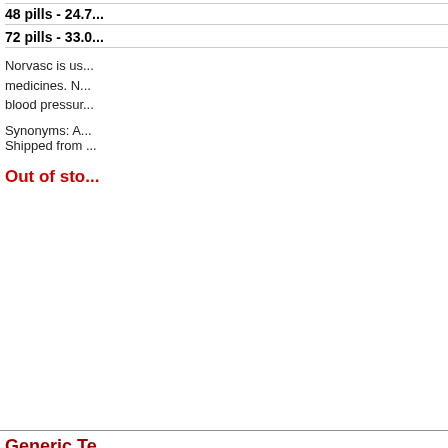48 pills - 24.7...
72 pills - 33.0...
Norvasc is us... medicines. N... blood pressur...
Synonyms: A...
Shipped from ...
Out of sto...
Generic Te...
[Figure (screenshot): CONTACT and REGISTER buttons with icons]
Tenormin is u...
Synonyms: A...
Atenblock; Ate...
Shipped from ...
Out of sto...
Generic Te...
24 pills - 13.7...